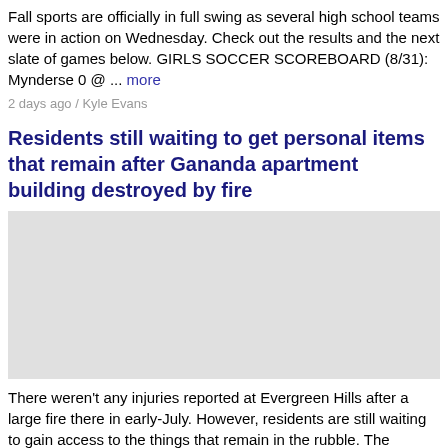Fall sports are officially in full swing as several high school teams were in action on Wednesday. Check out the results and the next slate of games below. GIRLS SOCCER SCOREBOARD (8/31): Mynderse 0 @ ... more
2 days ago / Kyle Evans
Residents still waiting to get personal items that remain after Gananda apartment building destroyed by fire
[Figure (photo): Photo placeholder for Gananda apartment building fire article]
There weren't any injuries reported at Evergreen Hills after a large fire there in early-July. However, residents are still waiting to gain access to the things that remain in the rubble. The Evergreen Hills Apartment ... more